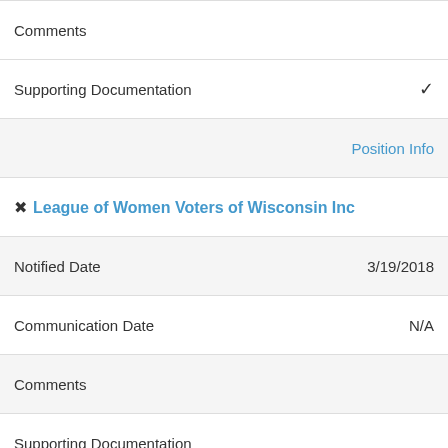Comments
Supporting Documentation ✓
Position Info
League of Women Voters of Wisconsin Inc
Notified Date 3/19/2018
Communication Date N/A
Comments
Supporting Documentation
Madison Metropolitan School District
Notified Date 3/30/2018
Communication Date N/A